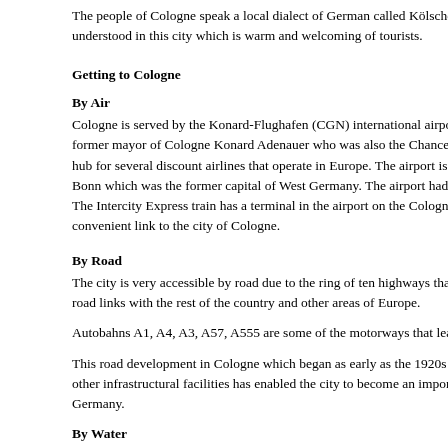The people of Cologne speak a local dialect of German called Kölsche, but English is understood in this city which is warm and welcoming of tourists.
Getting to Cologne
By Air
Cologne is served by the Konard-Flughafen (CGN) international airport. The airport is named after former mayor of Cologne Konard Adenauer who was also the Chancellor of Germany. It is a hub for several discount airlines that operate in Europe. The airport is shared by the nearby city of Bonn which was the former capital of West Germany. The airport had large freight operations. The Intercity Express train has a terminal in the airport on the Cologne-Frankfurt line which provides a convenient link to the city of Cologne.
By Road
The city is very accessible by road due to the ring of ten highways that encircle it giving it excellent road links with the rest of the country and other areas of Europe.
Autobahns A1, A4, A3, A57, A555 are some of the motorways that lead to Cologne.
This road development in Cologne which began as early as the 1920s along with the development of other infrastructural facilities has enabled the city to become an important economic centre in Germany.
By Water
The Rhine has five ports on it and Cologne has the second largest inland harbor making it extremely accessible by water as well.